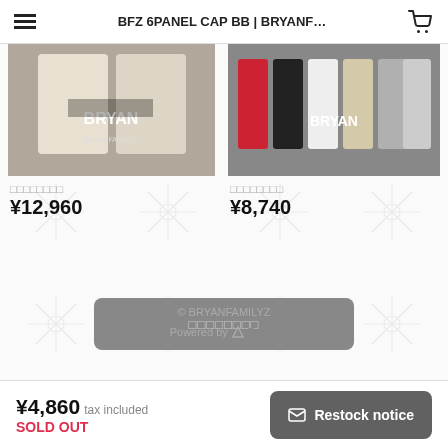BFZ 6PANEL CAP BB | BRYANF…
[Figure (photo): Product photo showing cream/off-white jackets with BRYAN text overlay]
□□□□□□□□
¥12,960
[Figure (photo): Product photo showing multiple colored hoodies (red, black, white, beige, grey) with BRYAN text overlay]
□□□□□□□□
¥8,740
□□□□□□□□
© BRYANFAMILYZ
Powered by △BASE
¥4,860  tax included  SOLD OUT  Restock notice